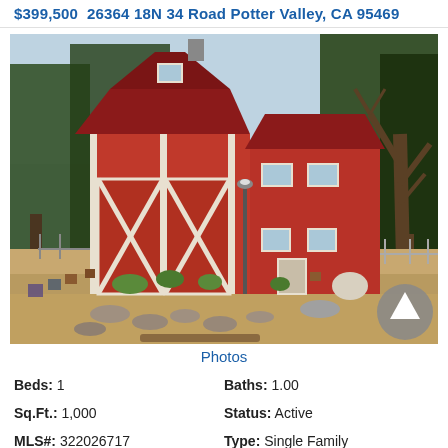$399,500  26364 18N 34 Road Potter Valley, CA 95469
[Figure (photo): Exterior photo of a red two-story barn-style house with white trim X-bracing on the barn doors, surrounded by trees. Garden area with rocks and plants in the foreground.]
Photos
Beds: 1
Baths: 1.00
Sq.Ft.: 1,000
Status: Active
MLS#: 322026717
Type: Single Family
Lot size: 72.89 Acres